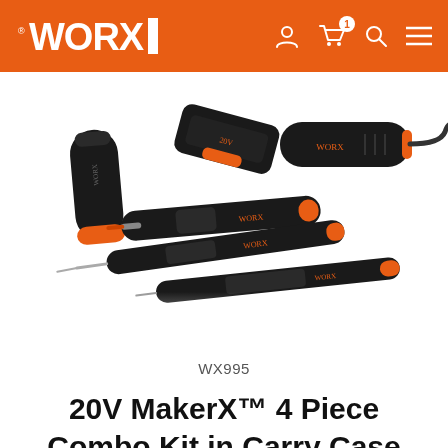WORX
[Figure (photo): Multiple WORX MakerX tools arranged on a white background including a rotary tool, soldering iron, heat gun and other accessories, all black with orange accents. The tools are scattered diagonally across the frame.]
WX995
20V MakerX™ 4 Piece Combo Kit in Carry Case